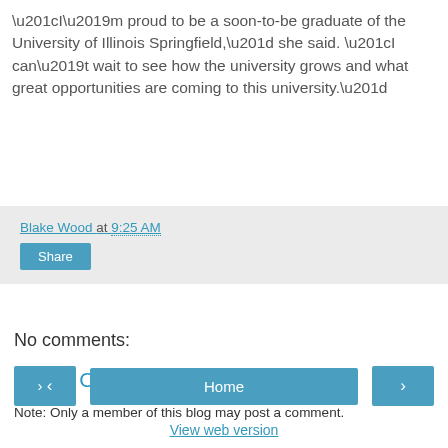“I’m proud to be a soon-to-be graduate of the University of Illinois Springfield,” she said. “I can’t wait to see how the university grows and what great opportunities are coming to this university.”
Blake Wood at 9:25 AM
Share
No comments:
Post a Comment
Note: Only a member of this blog may post a comment.
Home
View web version